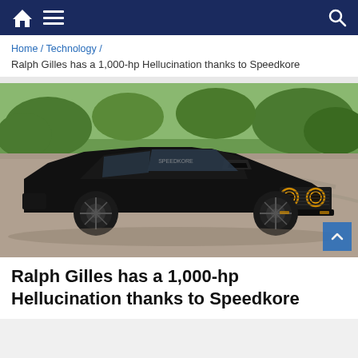Navigation bar with home icon, menu icon, and search icon
Home / Technology /
Ralph Gilles has a 1,000-hp Hellucination thanks to Speedkore
[Figure (photo): Black custom muscle car (Hellucination) on a road with green trees and grass in background]
Ralph Gilles has a 1,000-hp Hellucination thanks to Speedkore